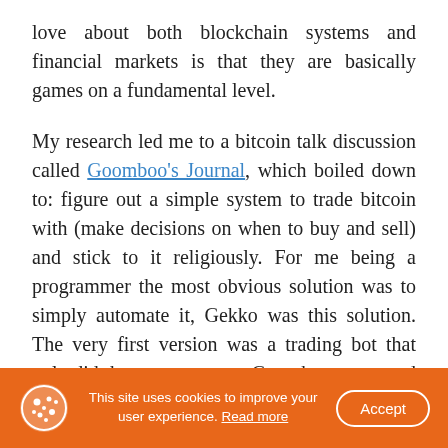love about both blockchain systems and financial markets is that they are basically games on a fundamental level.
My research led me to a bitcoin talk discussion called Goomboo's Journal, which boiled down to: figure out a simple system to trade bitcoin with (make decisions on when to buy and sell) and stick to it religiously. For me being a programmer the most obvious solution was to simply automate it, Gekko was this solution. The very first version was a trading bot that only did the exact strategy Goomboo suggested and it only worked on Mt. Gox.
This site uses cookies to improve your user experience. Read more